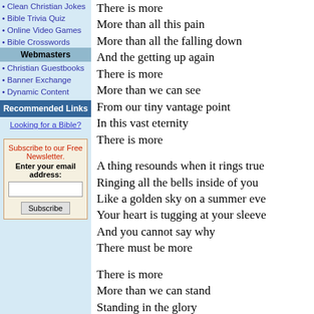• Clean Christian Jokes
• Bible Trivia Quiz
• Online Video Games
• Bible Crosswords
Webmasters
• Christian Guestbooks
• Banner Exchange
• Dynamic Content
Recommended Links
Looking for a Bible?
Subscribe to our Free Newsletter. Enter your email address:
There is more
More than all this pain
More than all the falling down
And the getting up again
There is more
More than we can see
From our tiny vantage point
In this vast eternity
There is more

A thing resounds when it rings true
Ringing all the bells inside of you
Like a golden sky on a summer eve
Your heart is tugging at your sleeve
And you cannot say why
There must be more

There is more
More than we can stand
Standing in the glory
Of a love that never ends
There is more
More than we can guess
More and more, forever more
And not a second less

There is more than what the naked eye can see
Clothing all our days with mystery
Watching over everything